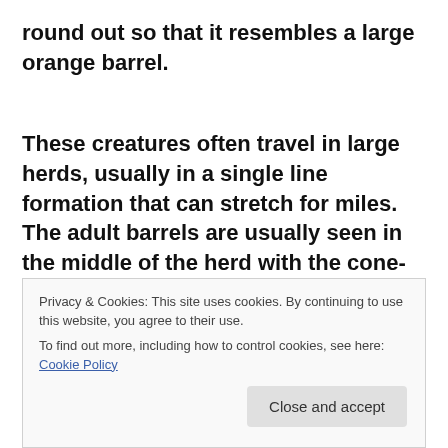round out so that it resembles a large orange barrel.
These creatures often travel in large herds, usually in a single line formation that can stretch for miles.  The adult barrels are usually seen in the middle of the herd with the cone-like children at the front and the back.  Scientists believe that these creatures are migratory, going south in the winter and making their way north
Privacy & Cookies: This site uses cookies. By continuing to use this website, you agree to their use.
To find out more, including how to control cookies, see here: Cookie Policy
Close and accept
for months, and they live long as they slowly feed only o